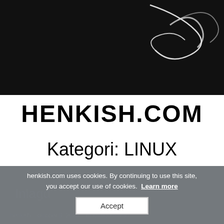[Figure (photo): Dark/black background image with white script/cursive text or illustration, partially visible at top of page]
HENKISH.COM
Kategori: LINUX
henkish.com uses cookies. By continuing to use this site, you accept our use of cookies. Learn more
Accept
Inlagd
henkish   oktober 9, 2020   Ej kategoriserad